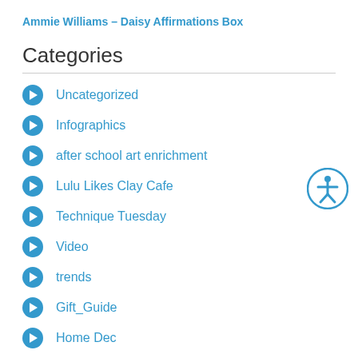Ammie Williams – Daisy Affirmations Box
Categories
Uncategorized
Infographics
after school art enrichment
Lulu Likes Clay Cafe
Technique Tuesday
Video
trends
Gift_Guide
Home Dec